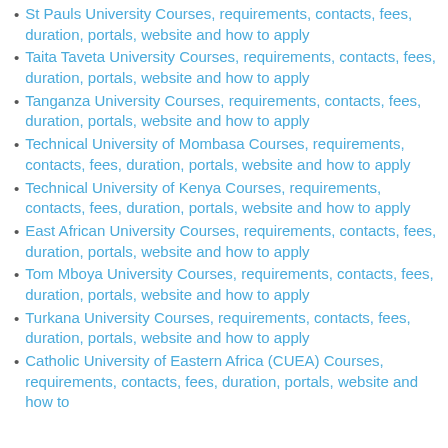St Pauls University Courses, requirements, contacts, fees, duration, portals, website and how to apply
Taita Taveta University Courses, requirements, contacts, fees, duration, portals, website and how to apply
Tanganza University Courses, requirements, contacts, fees, duration, portals, website and how to apply
Technical University of Mombasa Courses, requirements, contacts, fees, duration, portals, website and how to apply
Technical University of Kenya Courses, requirements, contacts, fees, duration, portals, website and how to apply
East African University Courses, requirements, contacts, fees, duration, portals, website and how to apply
Tom Mboya University Courses, requirements, contacts, fees, duration, portals, website and how to apply
Turkana University Courses, requirements, contacts, fees, duration, portals, website and how to apply
Catholic University of Eastern Africa (CUEA) Courses, requirements, contacts, fees, duration, portals, website and how to apply